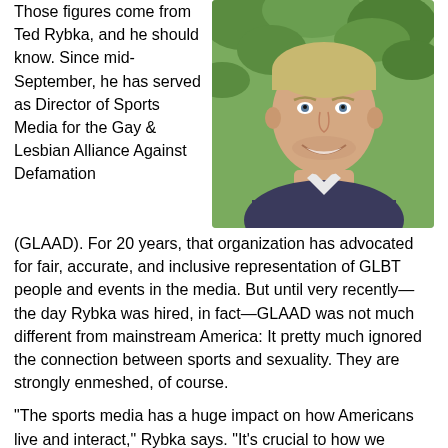Those figures come from Ted Rybka, and he should know. Since mid-September, he has served as Director of Sports Media for the Gay & Lesbian Alliance Against Defamation (GLAAD). For 20 years, that organization has advocated for fair, accurate, and inclusive representation of GLBT people and events in the media. But until very recently—the day Rybka was hired, in fact—GLAAD was not much different from mainstream America: It pretty much ignored the connection between sports and sexuality. They are strongly enmeshed, of course.
[Figure (photo): Headshot of a smiling young man with short blond hair, wearing a dark jacket, with green foliage in the background.]
"The sports media has a huge impact on how Americans live and interact," Rybka says. "It's crucial to how we perceive ourselves and others. With 24-hour channels, talk radio, and the Internet, sports is everywhere."
GLAAD has dabbled in athletics before—it participated in a GLBT sports conference in Boston, and reacted to antigay comments on